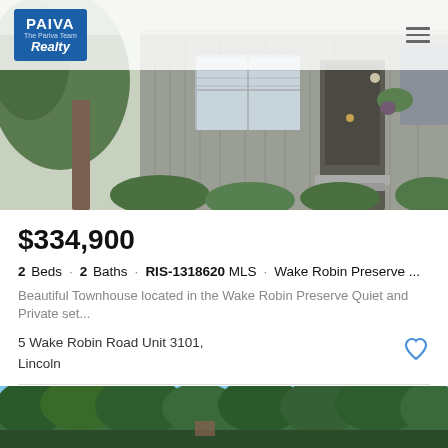[Figure (photo): Exterior photo of a gray wood-sided townhouse with front door, windows, and surrounding greenery]
PAIVA The Pariva Team Realty
$334,900
2 Beds · 2 Baths · RIS-1318620 MLS · Wake Robin Preserve ...
Beautiful Townhouse located in the Wake Robin Preserve Quiet and Private set...
5 Wake Robin Road Unit 3101,
Lincoln
Listing courtesy of LaMontagne Real Estate.
[Figure (photo): Exterior photo showing trees and sky, bottom strip of another property listing]